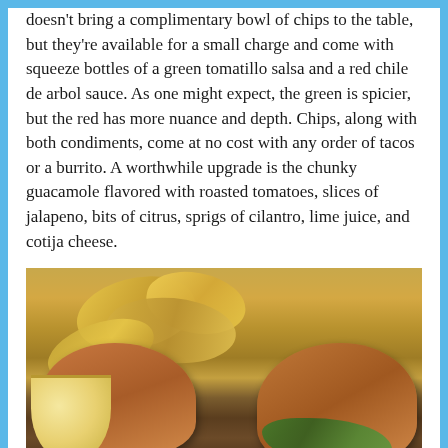doesn't bring a complimentary bowl of chips to the table, but they're available for a small charge and come with squeeze bottles of a green tomatillo salsa and a red chile de arbol sauce. As one might expect, the green is spicier, but the red has more nuance and depth. Chips, along with both condiments, come at no cost with any order of tacos or a burrito. A worthwhile upgrade is the chunky guacamole flavored with roasted tomatoes, slices of jalapeno, bits of citrus, sprigs of cilantro, lime juice, and cotija cheese.
[Figure (photo): Photo of food plate showing chips (crisps), two bread rolls/buns, a small sauce cup, and green garnish/salad on a wooden table surface]